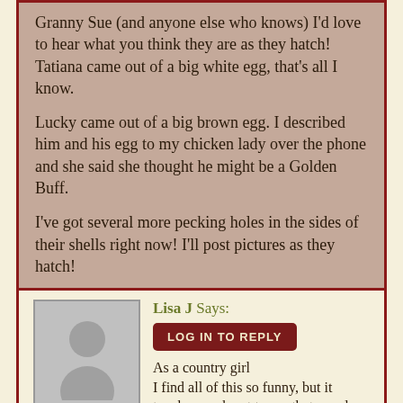Granny Sue (and anyone else who knows) I'd love to hear what you think they are as they hatch! Tatiana came out of a big white egg, that's all I know.

Lucky came out of a big brown egg. I described him and his egg to my chicken lady over the phone and she said she thought he might be a Golden Buff.

I've got several more pecking holes in the sides of their shells right now! I'll post pictures as they hatch!
ON APRIL 27, 2008 AT 9:29 AM
Lisa J Says:
LOG IN TO REPLY
As a country girl I find all of this so funny, but it touches my heart to see that people everywhere do still enjoy the simple things in life, no wait, the miracles of life and they are not so simple are they? Happy Hatching!
ON APRIL 27, 2008 AT 9:38 AM